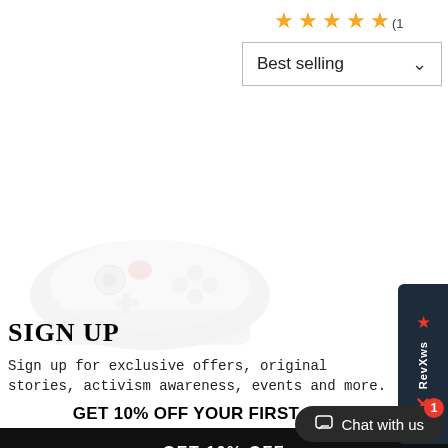[Figure (other): Star rating showing 4.5 stars out of 5 with (1) review count]
[Figure (screenshot): Best selling dropdown selector with chevron]
[Figure (photo): Product image - game controller or similar device on white background]
SIGN UP
Sign up for exclusive offers, original stories, activism awareness, events and more.
GET 10% OFF YOUR FIRST ORDER
GET 10% OFF
[Figure (other): Chat with us button with notification badge showing 1]
[Figure (other): RevXws sidebar widget with star icon]